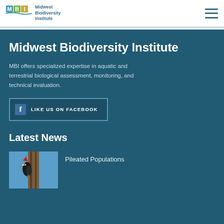Midwest Biodiversity Institute logo and navigation menu
Midwest Biodiversity Institute
MBI offers specialized expertise in aquatic and terrestrial biological assessment, monitoring, and technical evaluation.
LIKE US ON FACEBOOK
Latest News
[Figure (photo): Photo of a Pileated Woodpecker on a tree trunk against a blue sky background]
Pileated Populations